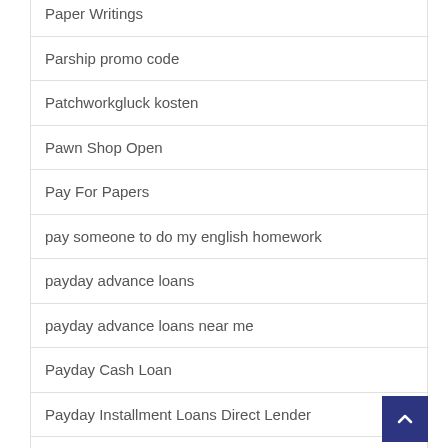Paper Writings
Parship promo code
Patchworkgluck kosten
Pawn Shop Open
Pay For Papers
pay someone to do my english homework
payday advance loans
payday advance loans near me
Payday Cash Loan
Payday Installment Loans Direct Lender